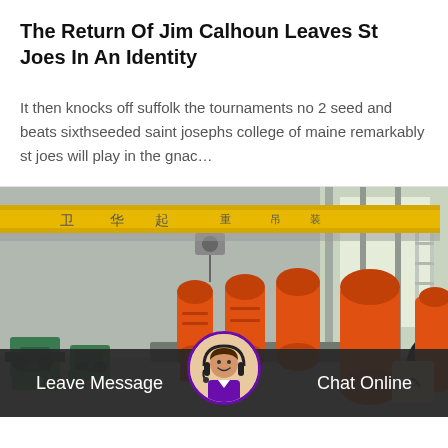The Return Of Jim Calhoun Leaves St Joes In An Identity
It then knocks off suffolk the tournaments no 2 seed and beats sixthseeded saint josephs college of maine remarkably st joes will play in the gnac…
[Figure (photo): Factory/industrial interior with large orange cylindrical ball mills on a conveyor, green machinery on the left, yellow overhead crane with Chinese characters, bright windows on the right side of the building.]
Leave Message
Chat Online